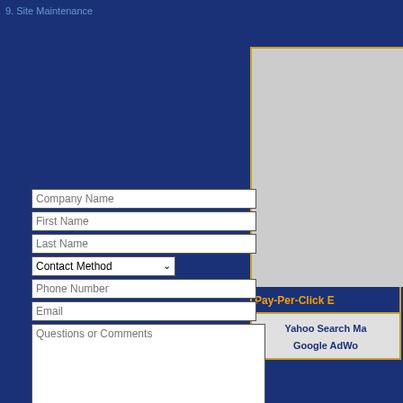9. Site Maintenance
[Figure (screenshot): Right column panel with dark blue bar at top, gray content area, Pay-Per-Click Experts bar in gold-bordered dark navy, and Yahoo Search Marketing / Google AdWords section below]
[Figure (screenshot): Web contact form with fields: Company Name, First Name, Last Name, Contact Method dropdown, Phone Number, Email, Questions or Comments textarea, and Submit/Clear buttons]
After your website has been properly o...
Correctly submit each page to the search engines, and
Help you get placed in the n...
If requested, we can help y... and report on your ranking...
Help you submit and o...
[Figure (logo): Starship Computer Services logo and Tampa SEO Training Academy logo stacked in white box]